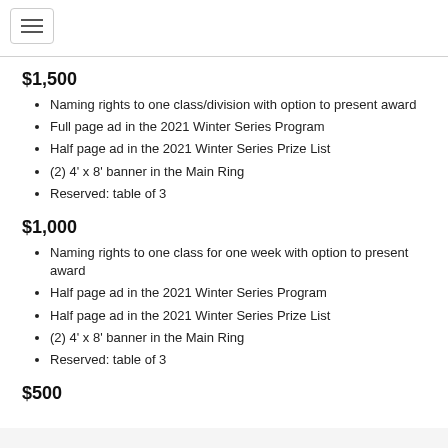≡
$1,500
Naming rights to one class/division with option to present award
Full page ad in the 2021 Winter Series Program
Half page ad in the 2021 Winter Series Prize List
(2) 4' x 8' banner in the Main Ring
Reserved: table of 3
$1,000
Naming rights to one class for one week with option to present award
Half page ad in the 2021 Winter Series Program
Half page ad in the 2021 Winter Series Prize List
(2) 4' x 8' banner in the Main Ring
Reserved: table of 3
$500